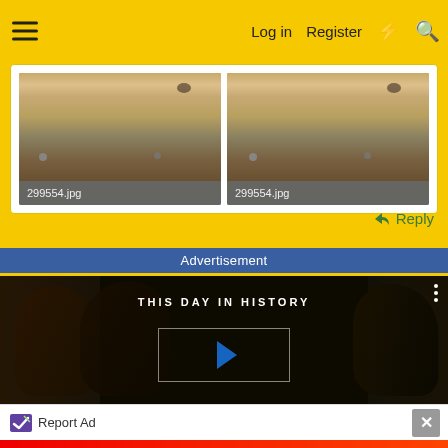Log in  Register
[Figure (photo): Two side-by-side thumbnail images of a circular object (appears to be a coin or medallion), each labeled 299554.jpg]
↩ Reply
Advertisement
[Figure (screenshot): Video advertisement for 'This Day in History' channel showing black and white faces with a play button overlay]
Report Ad
[Figure (photo): BitLife game advertisement with 'FAIL' text and 'START A NEW LIFE' branding on red background]